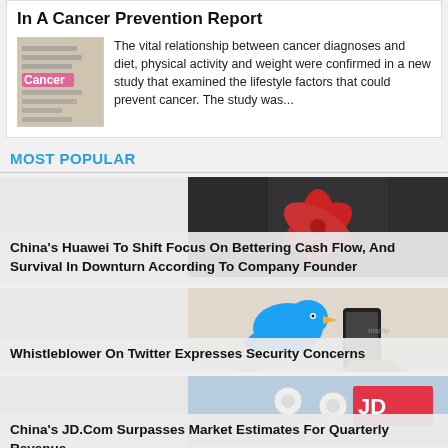In A Cancer Prevention Report
[Figure (photo): Close-up of cancer-related text on paper with pink highlight]
The vital relationship between cancer diagnoses and diet, physical activity and weight were confirmed in a new study that examined the lifestyle factors that could prevent cancer. The study was...
MOST POPULAR
[Figure (photo): Red and dark floral/hand pattern on dark background (Huawei logo style)]
China's Huawei To Shift Focus On Bettering Cash Flow, And Survival In Downturn According To Company Founder
[Figure (photo): Twitter bird logo and hand holding smartphone]
Whistleblower On Twitter Expresses Security Concerns
[Figure (photo): Earbuds and red/white JD.com related imagery]
China's JD.Com Surpasses Market Estimates For Quarterly Revenue